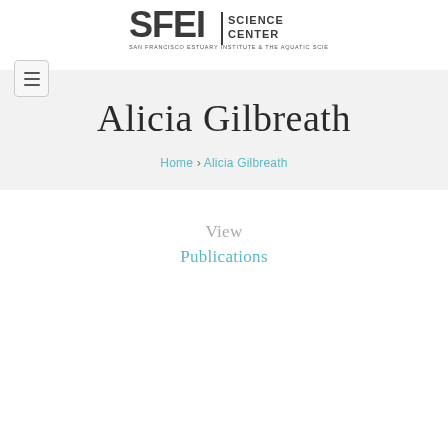[Figure (logo): SFEI San Francisco Estuary Institute & The Aquatic Science Center logo]
[Figure (other): Hamburger menu button icon]
Alicia Gilbreath
Home › Alicia Gilbreath
View
Publications